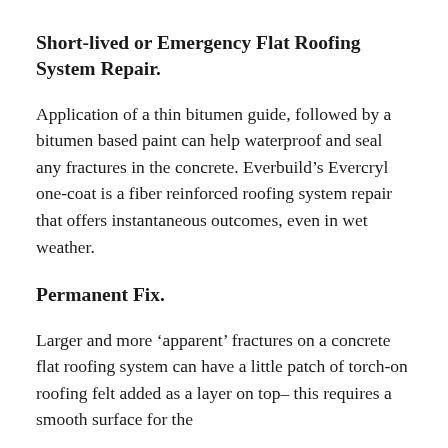Short-lived or Emergency Flat Roofing System Repair.
Application of a thin bitumen guide, followed by a bitumen based paint can help waterproof and seal any fractures in the concrete. Everbuild’s Evercryl one-coat is a fiber reinforced roofing system repair that offers instantaneous outcomes, even in wet weather.
Permanent Fix.
Larger and more ‘apparent’ fractures on a concrete flat roofing system can have a little patch of torch-on roofing felt added as a layer on top– this requires a smooth surface for the